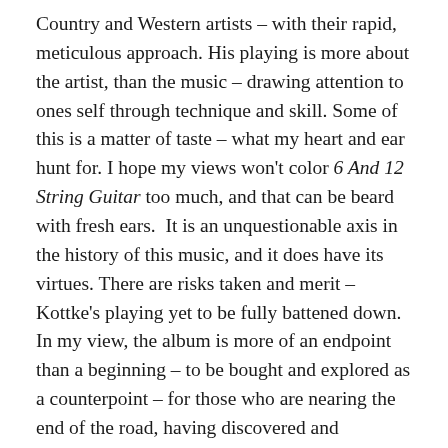Country and Western artists – with their rapid, meticulous approach. His playing is more about the artist, than the music – drawing attention to ones self through technique and skill. Some of this is a matter of taste – what my heart and ear hunt for. I hope my views won't color 6 And 12 String Guitar too much, and that can be beard with fresh ears.  It is an unquestionable axis in the history of this music, and it does have its virtues. There are risks taken and merit – Kottke's playing yet to be fully battened down. In my view, the album is more of an endpoint than a beginning – to be bought and explored as a counterpoint – for those who are nearing the end of the road, having discovered and exhausted nearly everything else, but for some it may be a perfect place to begin.